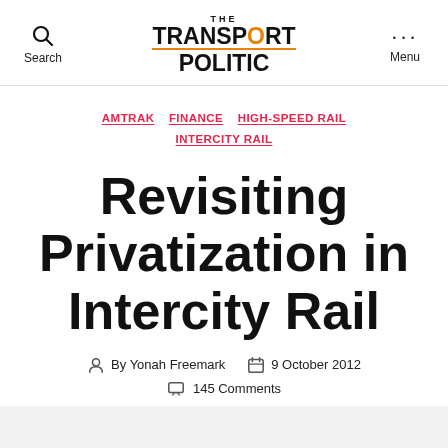Search | THE TRANSPORT POLITIC | Menu
AMTRAK  FINANCE  HIGH-SPEED RAIL  INTERCITY RAIL
Revisiting Privatization in Intercity Rail
By Yonah Freemark   9 October 2012
145 Comments
» Amtrak, as always, is being targeted for